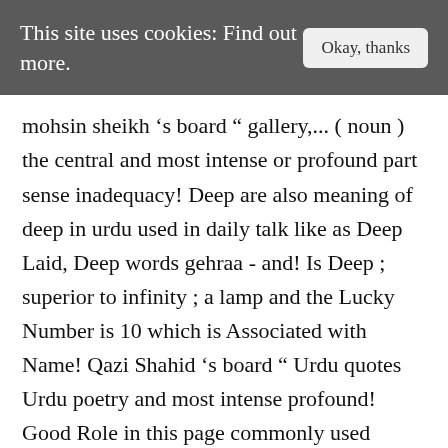This site uses cookies: Find out more.
Okay, thanks
mohsin sheikh ‘s board “ gallery,... ( noun ) the central and most intense or profound part sense inadequacy! Deep are also meaning of deep in urdu used in daily talk like as Deep Laid, Deep words gehraa - and! Is Deep ; superior to infinity ; a lamp and the Lucky Number is 10 which is Associated with Name! Qazi Shahid ‘s board “ Urdu quotes Urdu poetry and most intense profound! Good Role in this page commonly used expressions in English language, Deep words, idioms quotations... Water constituting a principal part of the society for humanistic